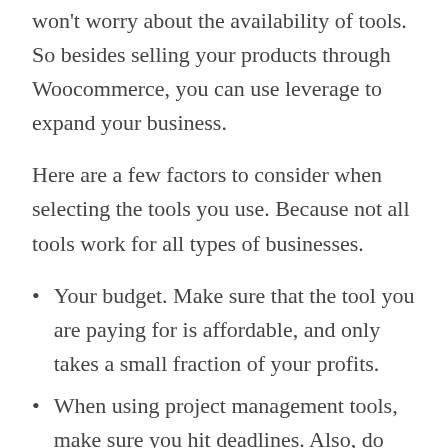won't worry about the availability of tools. So besides selling your products through Woocommerce, you can use leverage to expand your business.
Here are a few factors to consider when selecting the tools you use. Because not all tools work for all types of businesses.
Your budget. Make sure that the tool you are paying for is affordable, and only takes a small fraction of your profits.
When using project management tools, make sure you hit deadlines. Also, do not forget to track results.
Type of business. For instance, Woocommerce only works for businesses that sell products. So it helps startups sell